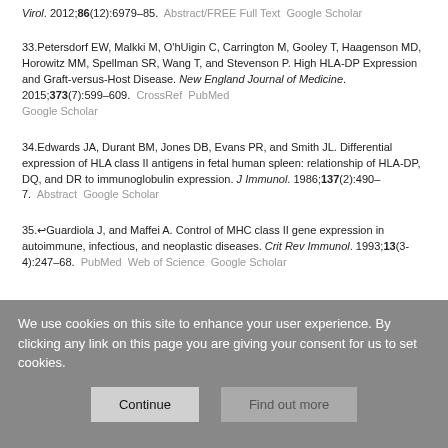Virol. 2012;86(12):6979–85. Abstract/FREE Full Text Google Scholar
33. Petersdorf EW, Malkki M, O'hUigin C, Carrington M, Gooley T, Haagenson MD, Horowitz MM, Spellman SR, Wang T, and Stevenson P. High HLA-DP Expression and Graft-versus-Host Disease. New England Journal of Medicine. 2015;373(7):599–609. CrossRef PubMed Google Scholar
34. Edwards JA, Durant BM, Jones DB, Evans PR, and Smith JL. Differential expression of HLA class II antigens in fetal human spleen: relationship of HLA-DP, DQ, and DR to immunoglobulin expression. J Immunol. 1986;137(2):490–7. Abstract Google Scholar
35. Guardiola J, and Maffei A. Control of MHC class II gene expression in autoimmune, infectious, and neoplastic diseases. Crit Rev Immunol. 1993;13(3-4):247–68. PubMed Web of Science Google Scholar
We use cookies on this site to enhance your user experience. By clicking any link on this page you are giving your consent for us to set cookies.